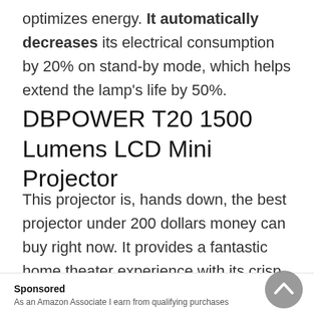optimizes energy. It automatically decreases its electrical consumption by 20% on stand-by mode, which helps extend the lamp's life by 50%.
DBPOWER T20 1500 Lumens LCD Mini Projector
This projector is, hands down, the best projector under 200 dollars money can buy right now. It provides a fantastic home theater experience with its crisp visuals and great function. This high-tech projector makes sure that your images will be sharper than ever, even on the big screen. It also reasonably
Sponsored
As an Amazon Associate I earn from qualifying purchases